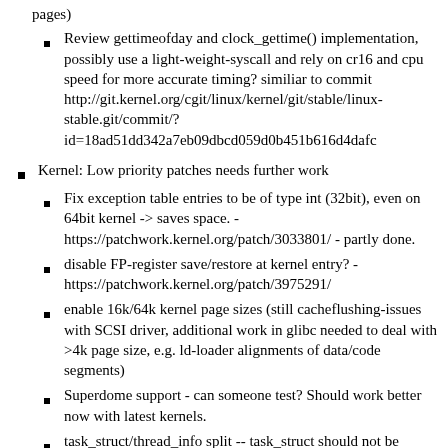pages)
Review gettimeofday and clock_gettime() implementation, possibly use a light-weight-syscall and rely on cr16 and cpu speed for more accurate timing? similiar to commit http://git.kernel.org/cgit/linux/kernel/git/stable/linux-stable.git/commit/?id=18ad51dd342a7eb09dbcd059d0b451b616d4dafc
Kernel: Low priority patches needs further work
Fix exception table entries to be of type int (32bit), even on 64bit kernel -> saves space. - https://patchwork.kernel.org/patch/3033801/ - partly done.
disable FP-register save/restore at kernel entry? - https://patchwork.kernel.org/patch/3975291/
enable 16k/64k kernel page sizes (still cacheflushing-issues with SCSI driver, additional work in glibc needed to deal with >4k page size, e.g. ld-loader alignments of data/code segments)
Superdome support - can someone test? Should work better now with latest kernels.
task_struct/thread_info split -- task_struct should not be visible in entry.S, we need to move some items into thread_info -- this includes pt_regs and maybe some of